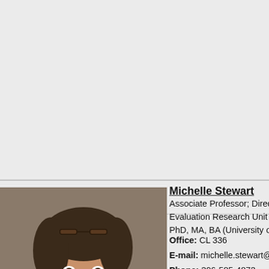Indigenous women and
Indigenous gender and s
Indigenous women and
Indigenous community e
Indigenous research me
Treaty rights and Aborig
Indigenous health
[Figure (photo): Headshot photo of Michelle Stewart, a woman with dark hair and glasses on top of her head, wearing a bright pink/magenta scarf and grey jacket, smiling.]
Michelle Stewart
Associate Professor; Directo
Evaluation Research Unit
PhD, MA, BA (University of
Office: CL 336
E-mail: michelle.stewart@u
Phone: 306-585-4873
Fax: 306-585-4815
Pronoun(s): she/they
Current classes
Fall 2022 - WGST 202-001,
Research interests
Applied anthropology
Disability justice
Settler colonialism
Forensic social sciences